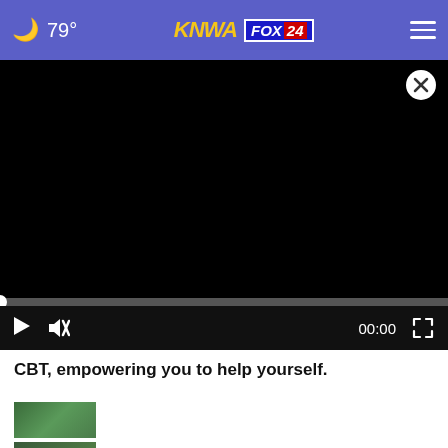🌙 79° | KNWA FOX 24 | ☰
[Figure (screenshot): Black video player area with close (X) button in top-right corner, progress bar, and playback controls showing play button, mute button, timestamp 00:00, and fullscreen button]
CBT, empowering you to help yourself.
[Figure (screenshot): Green news thumbnail image]
Thursday, August 18 Morning